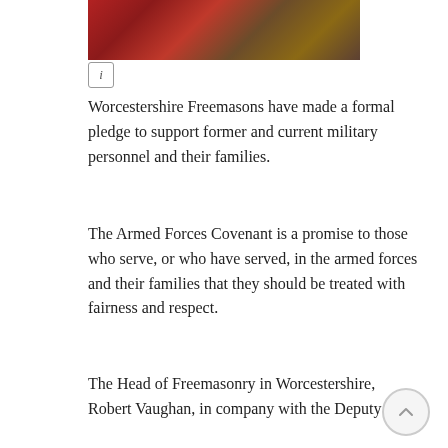[Figure (photo): Partial image showing red fabric and dark objects, cropped at top of page]
Worcestershire Freemasons have made a formal pledge to support former and current military personnel and their families.
The Armed Forces Covenant is a promise to those who serve, or who have served, in the armed forces and their families that they should be treated with fairness and respect.
The Head of Freemasonry in Worcestershire, Robert Vaughan, in company with the Deputy Lieutenant of Worcestershire, Senior Officers of the Armed Forces, representatives from the Royal British Legion, SSAFA and Armed Forces Veterans, gathered together to conduct the formal signing of the Armed Forces Covenant at Worcester Masonic Centre, at Rainbow Hill